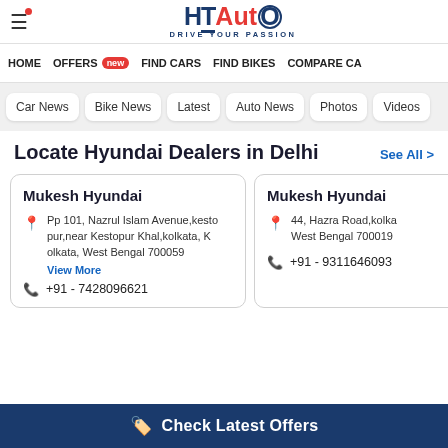HT Auto - Drive Your Passion
HOME | OFFERS new | FIND CARS | FIND BIKES | COMPARE CA
Car News | Bike News | Latest | Auto News | Photos | Videos
Locate Hyundai Dealers in Delhi  See All >
Mukesh Hyundai
Pp 101, Nazrul Islam Avenue,kestopur,near Kestopur Khal,kolkata, Kolkata, West Bengal 700059
View More
+91 - 7428096621
Mukesh Hyundai
44, Hazra Road,kolka West Bengal 700019
+91 - 9311646093
Check Latest Offers